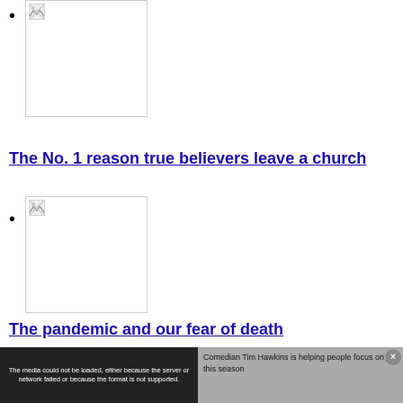[image placeholder]
The No. 1 reason true believers leave a church
[image placeholder]
The pandemic and our fear of death
CP World | Wednesday, April 07, 2021
Keir Starmer apologizes for visiting
[Figure (screenshot): Video player overlay showing error message: The media could not be loaded, either because the server or network failed or because the format is not supported. Right side shows text: Comedian Tim Hawkins is helping people focus on joy this season. Close button visible.]